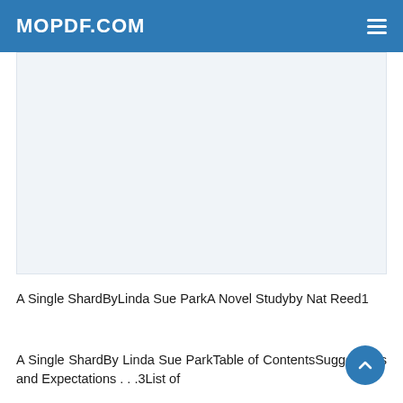MOPDF.COM
[Figure (other): Advertisement or blank content area placeholder]
A Single ShardByLinda Sue ParkA Novel Studyby Nat Reed1
A Single ShardBy Linda Sue ParkTable of ContentsSuggestions and Expectations . . .3List of Skills/Concepts in the Classroom Piece . . .